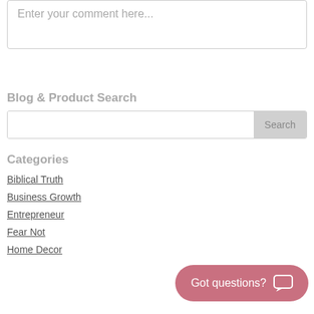[Figure (screenshot): Comment text area input box with placeholder text 'Enter your comment here...']
Blog & Product Search
[Figure (screenshot): Search input field with a Search button on the right]
Categories
Biblical Truth
Business Growth
Entrepreneur
Fear Not
Home Decor
[Figure (infographic): Pink rounded button with text 'Got questions?' and a speech bubble chat icon]